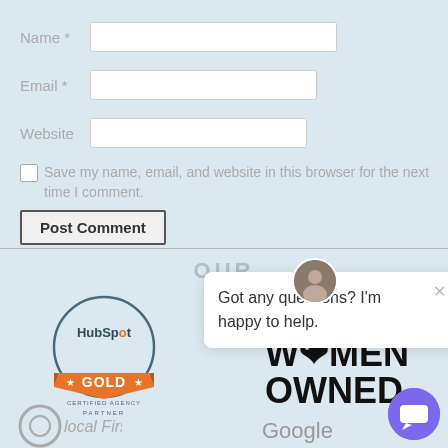Name *
Email *
Website
Save my name, email, and website in this browser for the next time I comment.
Post Comment
OUR
[Figure (logo): HubSpot Gold Certified Agency Partner badge]
[Figure (logo): WOMEN OWNED logo text]
[Figure (screenshot): Chat popup saying 'Got any questions? I'm happy to help.' with close button and avatar]
[Figure (logo): Local First logo (partially visible)]
[Figure (logo): Google logo (partially visible)]
[Figure (other): Purple chat button in bottom right corner]